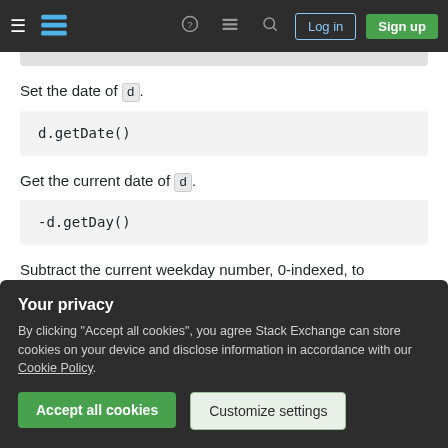Stack Exchange navigation bar with hamburger menu, logo, help, chat, search icons, Log in and Sign up buttons
Set the date of d.
d.getDate()
Get the current date of d.
-d.getDay()
Subtract the current weekday number, 0-indexed, to
Your privacy
By clicking "Accept all cookies", you agree Stack Exchange can store cookies on your device and disclose information in accordance with our Cookie Policy.
Accept all cookies
Customize settings